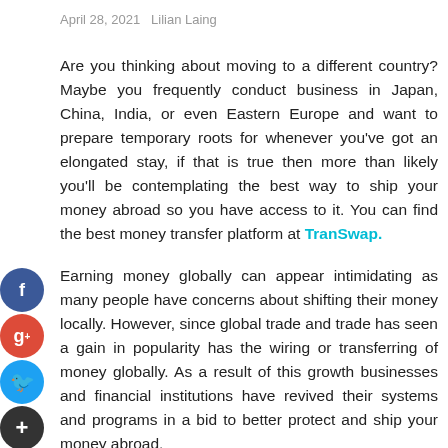April 28, 2021   Lilian Laing
Are you thinking about moving to a different country? Maybe you frequently conduct business in Japan, China, India, or even Eastern Europe and want to prepare temporary roots for whenever you've got an elongated stay, if that is true then more than likely you'll be contemplating the best way to ship your money abroad so you have access to it. You can find the best money transfer platform at TranSwap.
Earning money globally can appear intimidating as many people have concerns about shifting their money locally. However, since global trade and trade has seen a gain in popularity has the wiring or transferring of money globally. As a result of this growth businesses and financial institutions have revived their systems and programs in a bid to better protect and ship your money abroad.